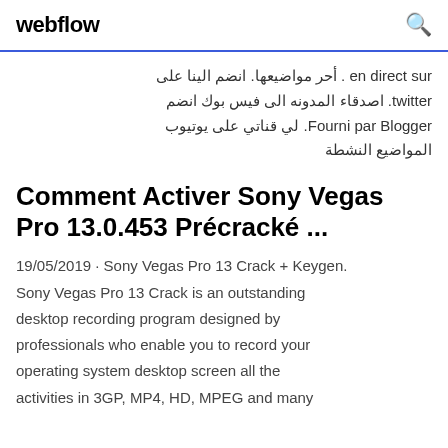webflow
en direct sur . أحر مواضيعها. انضم الينا على twitter. اصدقاء المدونه الى فيس بوك انضم Fourni par Blogger. لي قناتي على يوتيوب المواضيع النشطة
Comment Activer Sony Vegas Pro 13.0.453 Précracké ...
19/05/2019 · Sony Vegas Pro 13 Crack + Keygen. Sony Vegas Pro 13 Crack is an outstanding desktop recording program designed by professionals who enable you to record your operating system desktop screen all the activities in 3GP, MP4, HD, MPEG and many